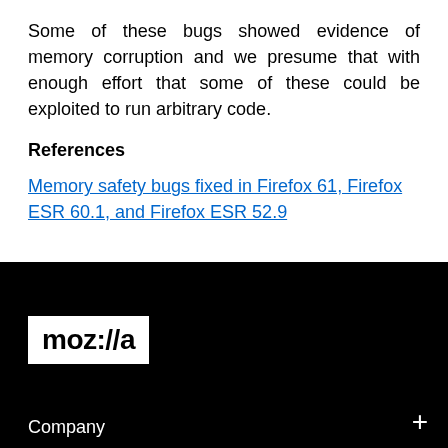Some of these bugs showed evidence of memory corruption and we presume that with enough effort that some of these could be exploited to run arbitrary code.
References
Memory safety bugs fixed in Firefox 61, Firefox ESR 60.1, and Firefox ESR 52.9
[Figure (logo): Mozilla logo: white background box with bold black text 'moz://a']
Company